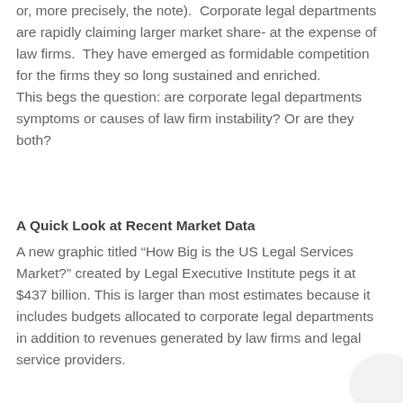or, more precisely, the note).  Corporate legal departments are rapidly claiming larger market share- at the expense of law firms.  They have emerged as formidable competition for the firms they so long sustained and enriched.
This begs the question: are corporate legal departments symptoms or causes of law firm instability? Or are they both?
A Quick Look at Recent Market Data
A new graphic titled “How Big is the US Legal Services Market?” created by Legal Executive Institute pegs it at $437 billion. This is larger than most estimates because it includes budgets allocated to corporate legal departments in addition to revenues generated by law firms and legal service providers.